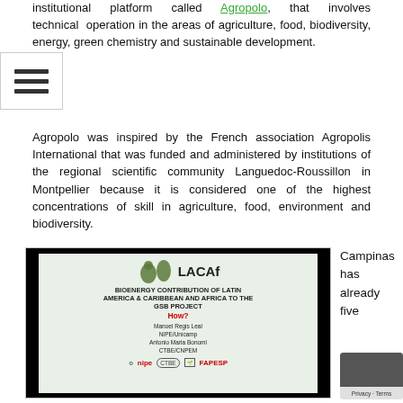institutional platform called Agropolo, that involves technical cooperation in the areas of agriculture, food, biodiversity, energy, green chemistry and sustainable development.
Agropolo was inspired by the French association Agropolis International that was funded and administered by institutions of the regional scientific community Languedoc-Roussillon in Montpellier because it is considered one of the highest concentrations of skill in agriculture, food, environment and biodiversity.
[Figure (photo): A projected presentation slide showing the LACAf logo with maps of Latin America and Africa, titled 'BIOENERGY CONTRIBUTION OF LATIN AMERICA & CARIBBEAN AND AFRICA TO THE GSB PROJECT - How?' by Manoel Regis Leal (NIPE/Unicamp) and Antonio Maria Bonomi (CTBE/CNPEM), with logos of nipe, CTBE, and FAPESP.]
Campinas has already five